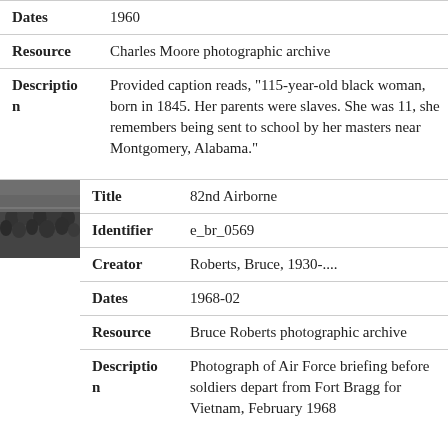| Field | Value |
| --- | --- |
| Dates | 1960 |
| Resource | Charles Moore photographic archive |
| Description | Provided caption reads, "115-year-old black woman, born in 1845. Her parents were slaves. She was 11, she remembers being sent to school by her masters near Montgomery, Alabama." |
[Figure (photo): Black and white thumbnail photograph showing a crowd of people]
| Field | Value |
| --- | --- |
| Title | 82nd Airborne |
| Identifier | e_br_0569 |
| Creator | Roberts, Bruce, 1930-.... |
| Dates | 1968-02 |
| Resource | Bruce Roberts photographic archive |
| Description | Photograph of Air Force briefing before soldiers depart from Fort Bragg for Vietnam, February 1968 |